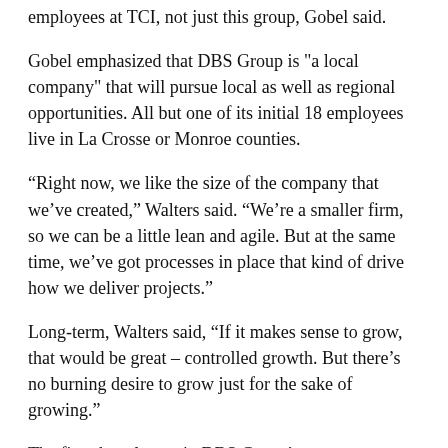employees at TCI, not just this group, Gobel said.
Gobel emphasized that DBS Group is "a local company" that will pursue local as well as regional opportunities. All but one of its initial 18 employees live in La Crosse or Monroe counties.
“Right now, we like the size of the company that we’ve created,” Walters said. “We’re a smaller firm, so we can be a little lean and agile. But at the same time, we’ve got processes in place that kind of drive how we deliver projects.”
Long-term, Walters said, “If it makes sense to grow, that would be great – controlled growth. But there’s no burning desire to grow just for the sake of growing.”
The first three letters in DBS Group’s name were derived from the words design-build solutions. As a design-build contractor, its construction team is involved with the design team and the project owner from the beginning of design work.
DBS Group has an in-house design staff that will mostly work on many of its grocery and other retail store projects.